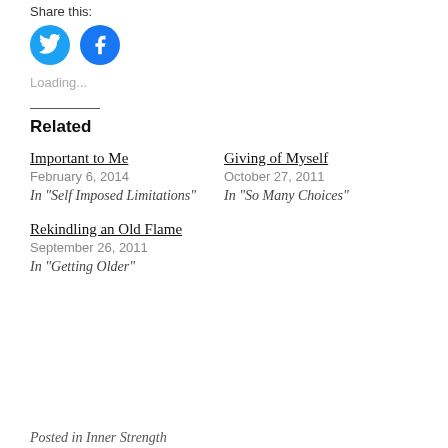Share this:
[Figure (other): Twitter and Facebook social share icon buttons (blue circles with white icons)]
Loading...
Related
Important to Me
February 6, 2014
In "Self Imposed Limitations"
Giving of Myself
October 27, 2011
In "So Many Choices"
Rekindling an Old Flame
September 26, 2011
In "Getting Older"
Posted in Inner Strength